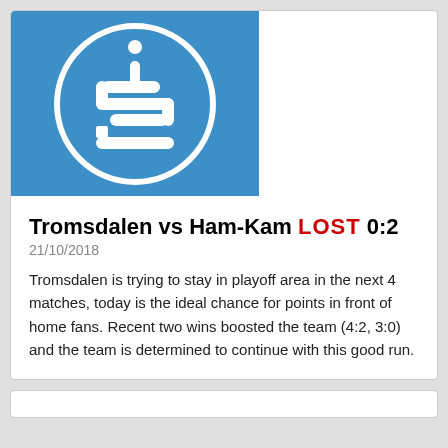[Figure (logo): Blue square with white circular logo containing stylized 'S' and cross/plus shape]
Tromsdalen vs Ham-Kam LOST 0:2
21/10/2018
Tromsdalen is trying to stay in playoff area in the next 4 matches, today is the ideal chance for points in front of home fans. Recent two wins boosted the team (4:2, 3:0) and the team is determined to continue with this good run.